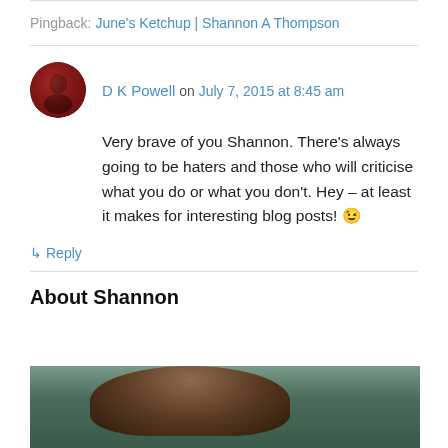Pingback: June's Ketchup | Shannon A Thompson
D K Powell on July 7, 2015 at 8:45 am
Very brave of you Shannon. There's always going to be haters and those who will criticise what you do or what you don't. Hey – at least it makes for interesting blog posts! 😉
↳ Reply
About Shannon
[Figure (photo): Photo of Shannon, showing hair and background]